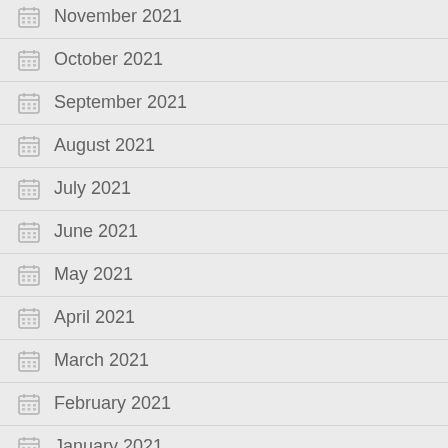November 2021
October 2021
September 2021
August 2021
July 2021
June 2021
May 2021
April 2021
March 2021
February 2021
January 2021
December 2020